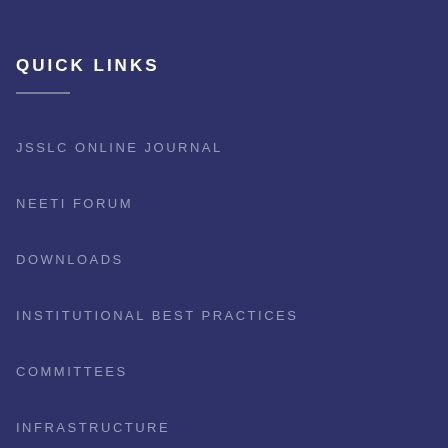QUICK LINKS
JSSLC ONLINE JOURNAL
NEETI FORUM
DOWNLOADS
INSTITUTIONAL BEST PRACTICES
COMMITTEES
INFRASTRUCTURE